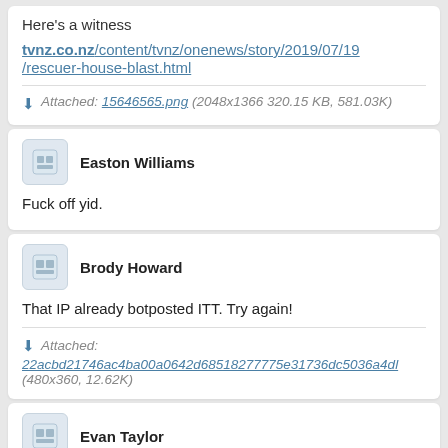Here's a witness
tvnz.co.nz/content/tvnz/onenews/story/2019/07/19/rescuer-house-blast.html
Attached: 15646565.png (2048x1366 320.15 KB, 581.03K)
Easton Williams
Fuck off yid.
Brody Howard
That IP already botposted ITT. Try again!
Attached: 22acbd21746ac4ba00a0642d68518277775e31736dc5036a4dl (480x360, 12.62K)
Evan Taylor